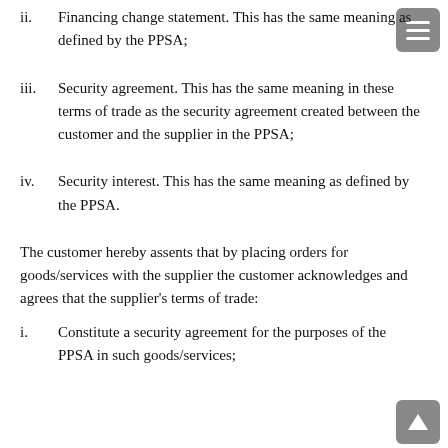ii.    Financing change statement. This has the same meaning as defined by the PPSA;
iii.   Security agreement. This has the same meaning in these terms of trade as the security agreement created between the customer and the supplier in the PPSA;
iv.    Security interest. This has the same meaning as defined by the PPSA.
The customer hereby assents that by placing orders for goods/services with the supplier the customer acknowledges and agrees that the supplier's terms of trade:
i.     Constitute a security agreement for the purposes of the PPSA in such goods/services;